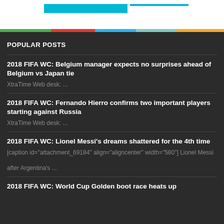POPULAR POSTS
2018 FIFA WC: Belgium manager expects no surprises ahead of Belgium vs Japan tie
XtraTime Web desk: ...
2018 FIFA WC: Fernando Hierro confirms two important players starting against Russia
XtraTime Web desk: ...
2018 FIFA WC: Lionel Messi's dreams shattered for the 4th time
[caption id="attachment_69184" align="aligncenter" width="580"] Lionel Messi after Argentina's ...
2018 FIFA WC: World Cup Golden boot race heats up